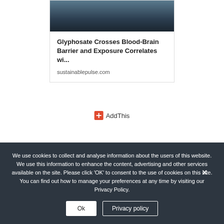[Figure (photo): Dark blue-toned image, partially visible at top of article card]
Glyphosate Crosses Blood-Brain Barrier and Exposure Correlates wi...
sustainablepulse.com
AddThis
We use cookies to collect and analyse information about the users of this website. We use this information to enhance the content, advertising and other services available on the site. Please click ‘OK’ to consent to the use of cookies on this site. You can find out how to manage your preferences at any time by visiting our Privacy Policy.